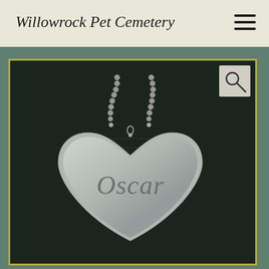Willowrock Pet Cemetery
[Figure (photo): A silver heart-shaped pendant engraved with the name 'Oscar' hanging from a ball chain, photographed against a dark background. The image is displayed within a gold-bordered frame on a muted green background.]